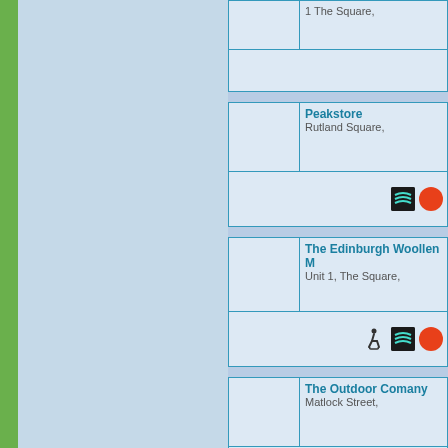| [image] | 1 The Square, |
| --- | --- |
| [image] |  |
| --- | --- |
| [image] | Peakstore
Rutland Square, |
| --- | --- |
| [image] | [Switch icon][Mastercard icon] |
| --- | --- |
| [image] | The Edinburgh Woollen M...
Unit 1, The Square, |
| --- | --- |
| [image] | [Disabled icon][Switch icon][Mastercard icon] |
| --- | --- |
| [image] | The Outdoor Comany
Matlock Street, |
| --- | --- |